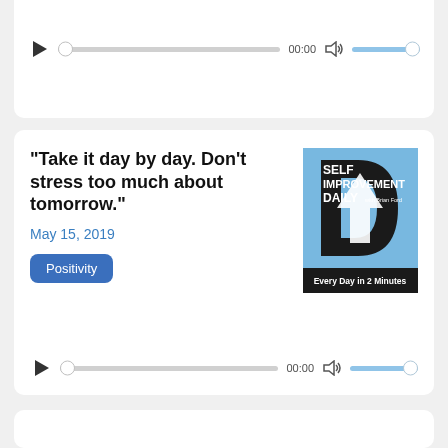[Figure (screenshot): Top audio player card (partial view) with play button, progress bar showing 00:00, volume icon, and volume slider]
"Take it day by day. Don't stress too much about tomorrow."
May 15, 2019
Positivity
[Figure (illustration): Self Improvement Daily podcast cover art: blue background with large black letter D, white upward arrow inside D, text 'SELF IMPROVEMENT DAILY with Brian Ford', subtitle 'Every Day in 2 Minutes' on black bar]
[Figure (screenshot): Bottom audio player with play button, progress bar showing 00:00, volume icon, and volume slider]
[Figure (screenshot): Third card stub visible at bottom of page]